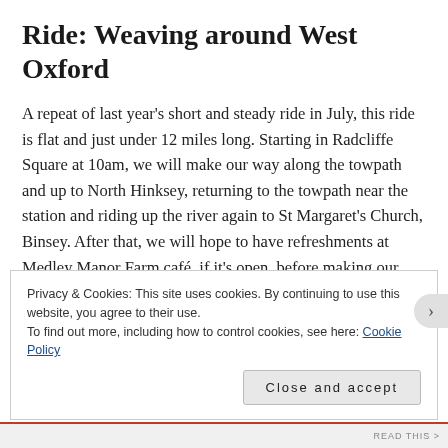Ride: Weaving around West Oxford
A repeat of last year's short and steady ride in July, this ride is flat and just under 12 miles long. Starting in Radcliffe Square at 10am, we will make our way along the towpath and up to North Hinksey, returning to the towpath near the station and riding up the river again to St Margaret's Church, Binsey. After that, we will hope to have refreshments at Medley Manor Farm café, if it's open, before making our way back along the towpath and into town. If the café is not open, we'll stop at the West
Privacy & Cookies: This site uses cookies. By continuing to use this website, you agree to their use.
To find out more, including how to control cookies, see here: Cookie Policy
Close and accept